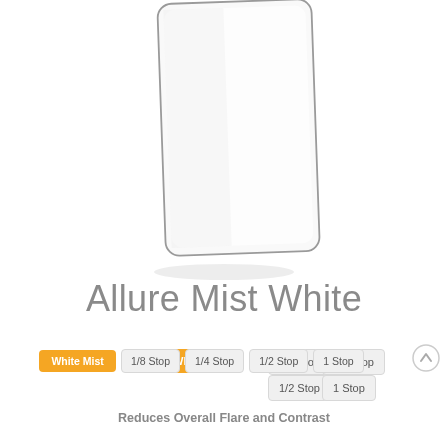[Figure (photo): A transparent rectangular camera filter (Allure Mist White) shown at an angle, with rounded bottom corners and a thin dark border, on a white background.]
Allure Mist White
White Mist
1/8 Stop
1/4 Stop
1/2 Stop
1 Stop
Reduces Overall Flare and Contrast